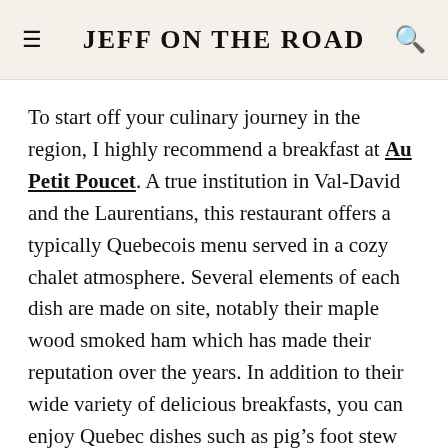JEFF ON THE ROAD
To start off your culinary journey in the region, I highly recommend a breakfast at Au Petit Poucet. A true institution in Val-David and the Laurentians, this restaurant offers a typically Quebecois menu served in a cozy chalet atmosphere. Several elements of each dish are made on site, notably their maple wood smoked ham which has made their reputation over the years. In addition to their wide variety of delicious breakfasts, you can enjoy Quebec dishes such as pig’s foot stew and tourtière. Those with a sweet tooth will be delighted to learn that it is possible to order a